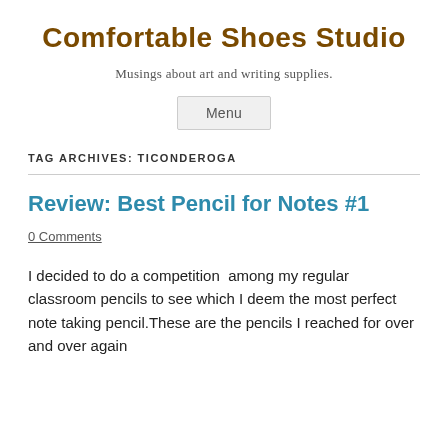Comfortable Shoes Studio
Musings about art and writing supplies.
Menu
TAG ARCHIVES: TICONDEROGA
Review: Best Pencil for Notes #1
0 Comments
I decided to do a competition  among my regular classroom pencils to see which I deem the most perfect note taking pencil.These are the pencils I reached for over and over again